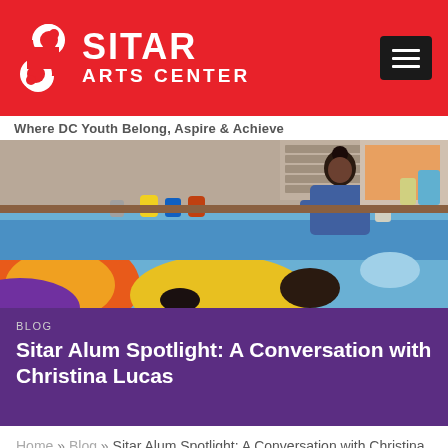[Figure (logo): Sitar Arts Center logo with red background, white S icon and text 'SITAR ARTS CENTER', and black hamburger menu button in top right]
Where DC Youth Belong, Aspire & Achieve
[Figure (photo): A young woman working on a large colorful mural on the floor of an art studio, with paint jars and art supplies visible]
BLOG
Sitar Alum Spotlight: A Conversation with Christina Lucas
Home » Blog » Sitar Alum Spotlight: A Conversation with Christina Lucas